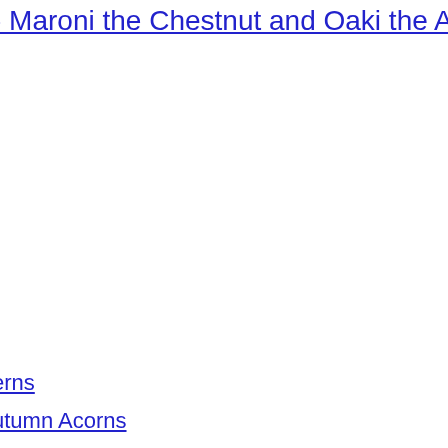- Maroni the Chestnut and Oaki the Acorn - Maroni Maron und O
erns
utumn Acorns